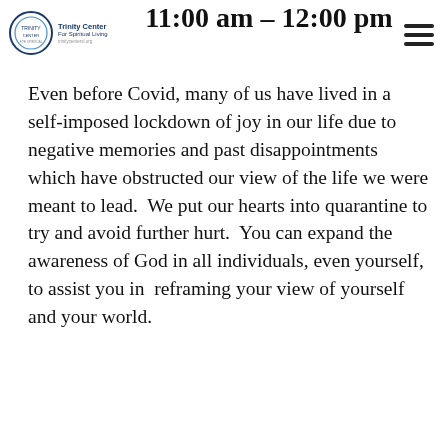11:00 am - 12:00 pm
[Figure (logo): Trinity Center For Spiritual Living circular logo with text]
Even before Covid, many of us have lived in a self-imposed lockdown of joy in our life due to negative memories and past disappointments which have obstructed our view of the life we were meant to lead.  We put our hearts into quarantine to try and avoid further hurt.  You can expand the awareness of God in all individuals, even yourself, to assist you in  reframing your view of yourself and your world.